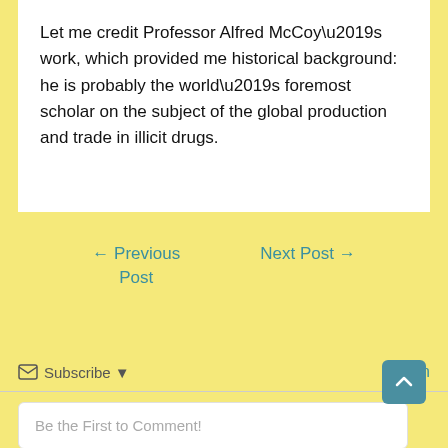Let me credit Professor Alfred McCoy’s work, which provided me historical background: he is probably the world’s foremost scholar on the subject of the global production and trade in illicit drugs.
← Previous Post
Next Post →
✉ Subscribe ▾
Login
Be the First to Comment!